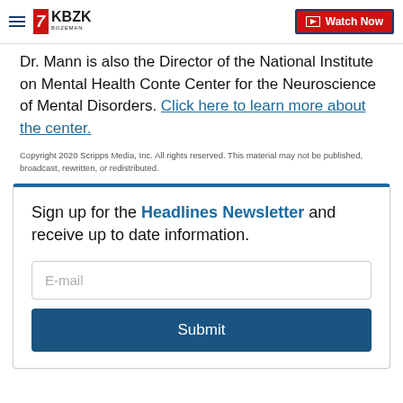KBZK Bozeman | Watch Now
Dr. Mann is also the Director of the National Institute on Mental Health Conte Center for the Neuroscience of Mental Disorders. Click here to learn more about the center.
Copyright 2020 Scripps Media, Inc. All rights reserved. This material may not be published, broadcast, rewritten, or redistributed.
Sign up for the Headlines Newsletter and receive up to date information. E-mail Submit